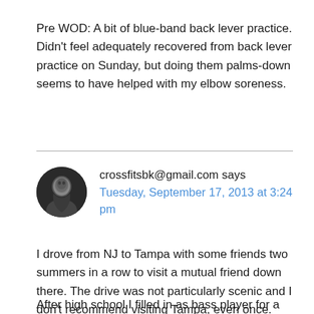Pre WOD: A bit of blue-band back lever practice. Didn't feel adequately recovered from back lever practice on Sunday, but doing them palms-down seems to have helped with my elbow soreness.
crossfitsbk@gmail.com says
Tuesday, September 17, 2013 at 3:24 pm
I drove from NJ to Tampa with some friends two summers in a row to visit a mutual friend down there. The drive was not particularly scenic and I don't recommend visiting Tampa, even once.
After high school I filled in as bass player for a semi-